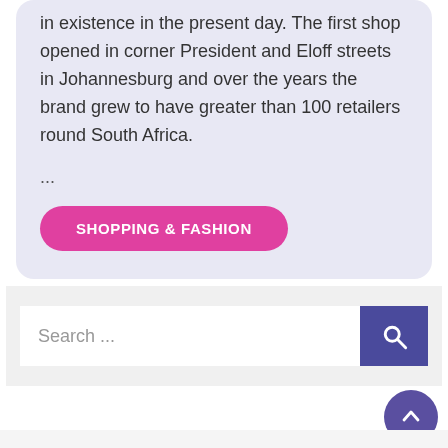in existence in the present day. The first shop opened in corner President and Eloff streets in Johannesburg and over the years the brand grew to have greater than 100 retailers round South Africa.
...
SHOPPING & FASHION
[Figure (screenshot): Search bar with placeholder text 'Search ...' and a purple search button with magnifying glass icon]